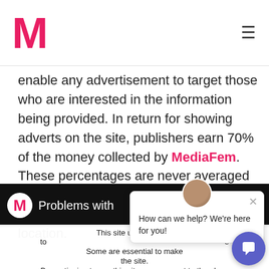M (Medium logo) with hamburger menu
enable any advertisement to target those who are interested in the information being provided. In return for showing adverts on the site, publishers earn 70% of the money collected by MediaFem. These percentages are never averaged among publishers and stay stable regardless of a publisher's geographic location.
[Figure (screenshot): Dark media block showing Medium M logo and partial text 'Problems with']
[Figure (screenshot): Chat popup with avatar photo, close X button, and message 'How can we help? We're here for you!']
This site uses cookies to ... Some are essential to make ... the site. By continuing to use this site, you consent to the place... these cookies.
[Figure (screenshot): Cookie banner with Accept button and Read More link]
[Figure (other): Purple chat bubble button in bottom right corner]